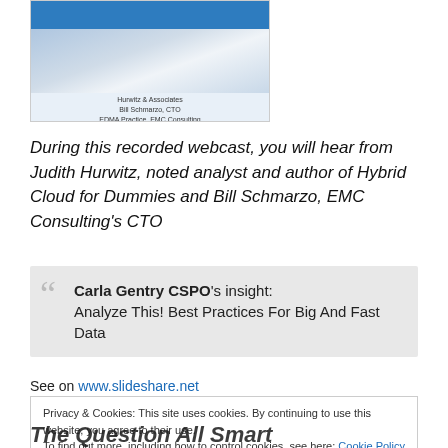[Figure (screenshot): Book cover thumbnail for a webcast/presentation featuring Hurwitz & Associates and Bill Schmarzo, CTO, EDMA Practice, EMC Consulting. Blue branded cover with EMC logo.]
During this recorded webcast, you will hear from Judith Hurwitz, noted analyst and author of Hybrid Cloud for Dummies and Bill Schmarzo, EMC Consulting's CTO
Carla Gentry CSPO's insight:
Analyze This! Best Practices For Big And Fast Data
See on www.slideshare.net
Privacy & Cookies: This site uses cookies. By continuing to use this website, you agree to their use.
To find out more, including how to control cookies, see here: Cookie Policy
The Question All Smart